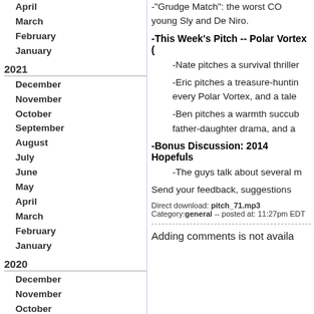April
March
February
January
2021
December
November
October
September
August
July
June
May
April
March
February
January
2020
December
November
October
September
August
July
June
May
April
March
February
January
-"Grudge Match": the worst CO... young Sly and De Niro.
-This Week's Pitch -- Polar Vortex (
-Nate pitches a survival thriller
-Eric pitches a treasure-hunting... every Polar Vortex, and a tale
-Ben pitches a warmth succumb... father-daughter drama, and a
-Bonus Discussion: 2014 Hopefuls
-The guys talk about several m
Send your feedback, suggestions
Direct download: pitch_71.mp3
Category: general -- posted at: 11:27pm EDT
Adding comments is not availa